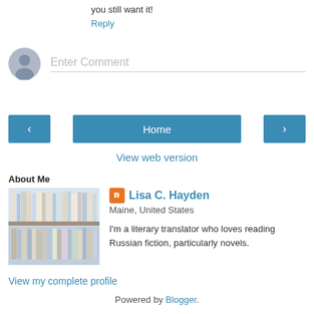you still want it!
Reply
[Figure (other): Comment input area with avatar placeholder and 'Enter Comment' text field]
[Figure (other): Navigation bar with left arrow button, Home button, and right arrow button]
View web version
About Me
[Figure (photo): Photo of bookshelves with many books]
Lisa C. Hayden
Maine, United States
I'm a literary translator who loves reading Russian fiction, particularly novels.
View my complete profile
Powered by Blogger.